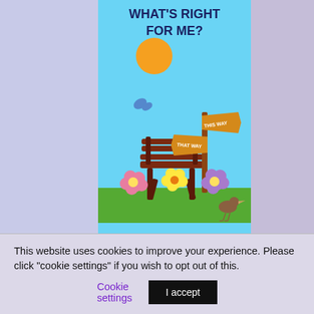[Figure (illustration): Book cover for 'What's Right For Me?' by Dr Sara Wickham. Sky-blue background with title in dark blue bold text at top. Illustration shows a sunny outdoor scene with a wooden bench, colorful flowers, a wooden signpost with 'This Way' and 'That Way' signs, a small bird, and a butterfly. Author name 'Dr Sara Wickham' appears at bottom of cover in dark blue serif font.]
The decisions that we make about our pregnancy and childbirth journeys can shape our experiences, health and lives, as
This website uses cookies to improve your experience. Please click "cookie settings" if you wish to opt out of this.
Cookie settings
I accept